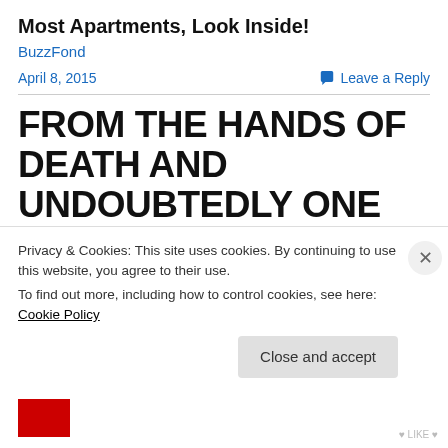Most Apartments, Look Inside!
BuzzFond
April 8, 2015
Leave a Reply
FROM THE HANDS OF DEATH AND UNDOUBTEDLY ONE OF AMERICA’S MOST EVIL SERIAL KILLERS … JOHN EDWARD ROBINSON aka “THE
Privacy & Cookies: This site uses cookies. By continuing to use this website, you agree to their use.
To find out more, including how to control cookies, see here: Cookie Policy
Close and accept